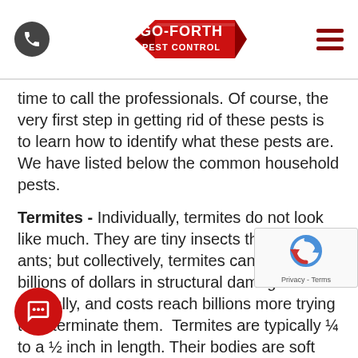Go-Forth Pest Control (header with phone icon, logo, and hamburger menu)
time to call the professionals. Of course, the very first step in getting rid of these pests is to learn how to identify what these pests are. We have listed below the common household pests.
Termites - Individually, termites do not look like much. They are tiny insects that look like ants; but collectively, termites can cause billions of dollars in structural damages annually, and costs reach billions more trying to exterminate them. Termites are typically ¼ to a ½ inch in length. Their bodies are soft and they also have antennae. A lot of people confuse them for ants. Termites have a rectangular shaped body with no narrowing at the waist, while ants have narrow waists. In the United States, there are 40 species of termites out of as many as 2,000 worldwide. Of these 40, the most common are the subterranean termites